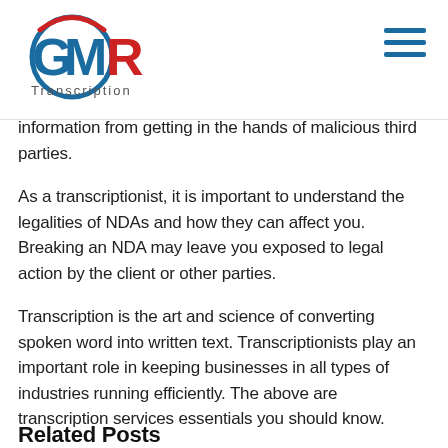GMR Transcription
information from getting in the hands of malicious third parties.
As a transcriptionist, it is important to understand the legalities of NDAs and how they can affect you. Breaking an NDA may leave you exposed to legal action by the client or other parties.
Transcription is the art and science of converting spoken word into written text. Transcriptionists play an important role in keeping businesses in all types of industries running efficiently. The above are transcription services essentials you should know.
Related Posts